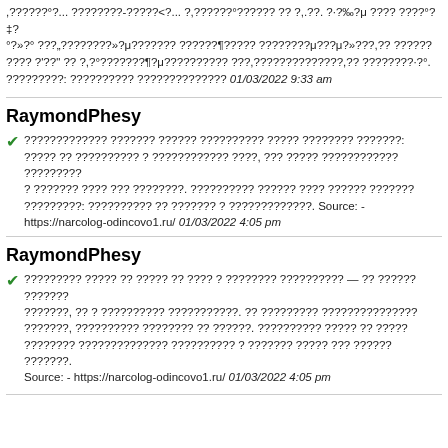,??????°?... ????????-?????<?... ?,??????°?????? ?? ?,.??. ?·?‰?μ ???? ????°?‡?°?»?° ???„????????»?μ??????? ??????¶????? ????????μ???μ?»???,?? ?????? ???? ?'??" ?? ?,?°???????¶?μ?????????? ???,??????????????,?? ????????·?°. ?????????: ?????????? ?????????????? 01/03/2022 9:33 am
RaymondPhesy
????????????? ??????? ?????? ?????????? ????? ???????? ???????: ????? ?? ?????????? ? ???????????? ????, ??? ????? ???????????? ????????? ? ??????? ???? ??? ????????. ?????????? ?????? ???? ?????? ??????? ?????????: ?????????? ?? ??????? ? ?????????????. Source: - https://narcolog-odincovo1.ru/ 01/03/2022 4:05 pm
RaymondPhesy
????????? ????? ?? ????? ?? ???? ? ???????? ?????????? — ?? ?????? ???????, ?? ? ?????????? ???????????. ?? ????????? ??????????????? ???????, ?????????? ???????? ?? ??????. ?????????? ????? ?? ????? ???????? ?????????????? ?????????? ? ??????? ????? ??? ?????? ???????. Source: - https://narcolog-odincovo1.ru/ 01/03/2022 4:05 pm